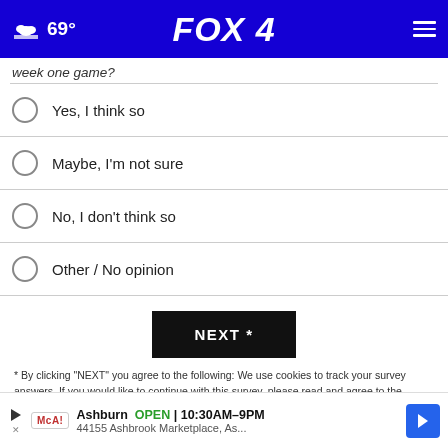69° FOX 4
week one game?
Yes, I think so
Maybe, I'm not sure
No, I don't think so
Other / No opinion
NEXT *
* By clicking "NEXT" you agree to the following: We use cookies to track your survey answers. If you would like to continue with this survey, please read and agree to the CivicScience Privacy Policy and Terms of Service
[Figure (screenshot): Partial advertisement image strip with close button]
Ashburn OPEN | 10:30AM–9PM 44155 Ashbrook Marketplace, As...